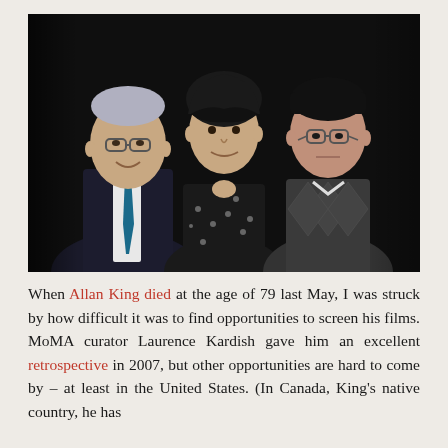[Figure (photo): Three people standing together posing for a photo in a darkened room. On the left is a man in a dark suit with a blue tie and glasses, in the center is a woman with dark wavy/curly hair wearing a dark floral dress, and on the right is a man of Asian descent wearing glasses and a grey argyle sweater vest.]
When Allan King died at the age of 79 last May, I was struck by how difficult it was to find opportunities to screen his films. MoMA curator Laurence Kardish gave him an excellent retrospective in 2007, but other opportunities are hard to come by – at least in the United States. (In Canada, King's native country, he has